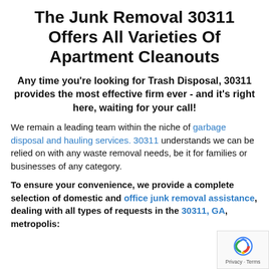The Junk Removal 30311 Offers All Varieties Of Apartment Cleanouts
Any time you're looking for Trash Disposal, 30311 provides the most effective firm ever - and it's right here, waiting for your call!
We remain a leading team within the niche of garbage disposal and hauling services. 30311 understands we can be relied on with any waste removal needs, be it for families or businesses of any category.
To ensure your convenience, we provide a complete selection of domestic and office junk removal assistance, dealing with all types of requests in the 30311, GA, metropolis: